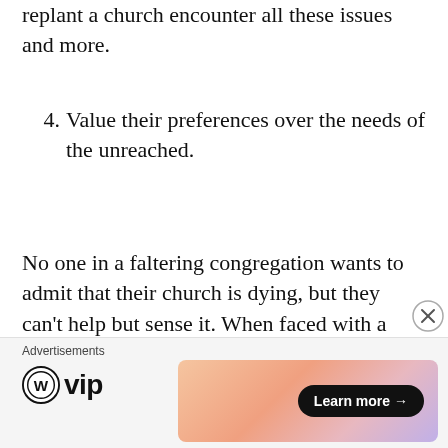replant a church encounter all these issues and more.
4. Value their preferences over the needs of the unreached.
No one in a faltering congregation wants to admit that their church is dying, but they can’t help but sense it. When faced with a frightening new situation, people naturally revert to what they know, what they think they know, and what is comfortable for them. So, members of a dying church
Advertisements